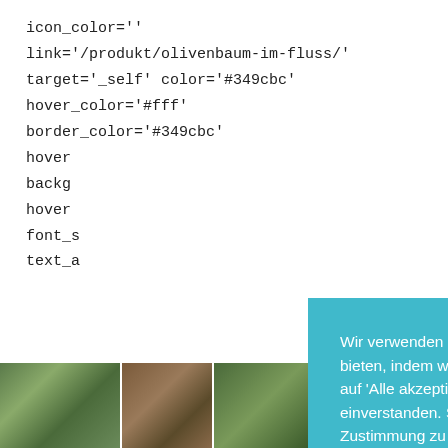icon_color=''
link='/produkt/olivenbaum-im-fluss/'
target='_self' color='#349cbc'
hover_color='#fff'
border_color='#349cbc'
hover...
backg...
hover...
font_s...
text_a...
[Figure (screenshot): Partially visible WE... button with bold text]
[Figure (photo): Bottom strip of partially visible photographic images]
Wir verwenden Cookies auf unserer Website, um Ihnen die bestmögliche Erfahrung zu bieten, indem wir uns an Ihre Präferenzen und wiederholten Besuche erinnern. Wenn Sie auf 'Alle akzeptieren' klicken, erklären Sie sich mit der Verwendung ALLER Cookies einverstanden. Sie können jedoch die 'Cookie-Einstellungen' besuchen, um eine kontrollierte Zustimmung zu erteilen.
Cookie Settings
Accept All